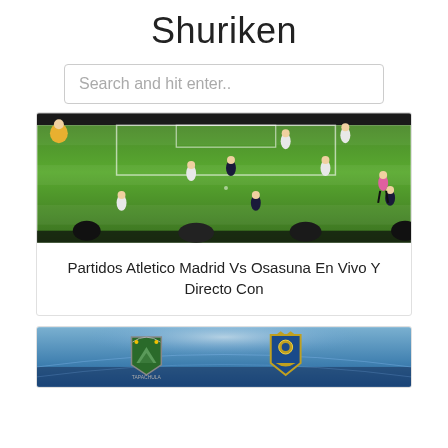Shuriken
Search and hit enter..
[Figure (photo): Soccer match aerial view on green pitch with players in white and dark uniforms and a referee in pink]
Partidos Atletico Madrid Vs Osasuna En Vivo Y Directo Con
[Figure (photo): Stadium background with Tapachula and another team logo/badge visible]